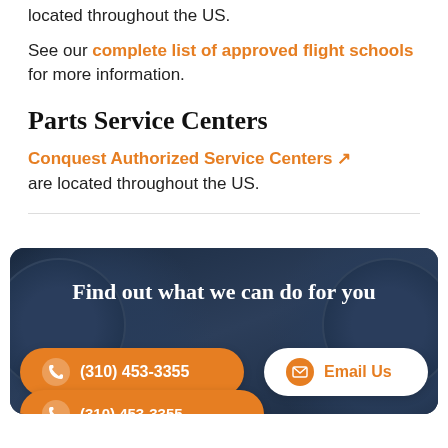located throughout the US.
See our complete list of approved flight schools for more information.
Parts Service Centers
Conquest Authorized Service Centers are located throughout the US.
[Figure (photo): Dark navy background with aircraft engine circles, contact call-to-action section with phone and email buttons]
Find out what we can do for you
(310) 453-3355
Email Us